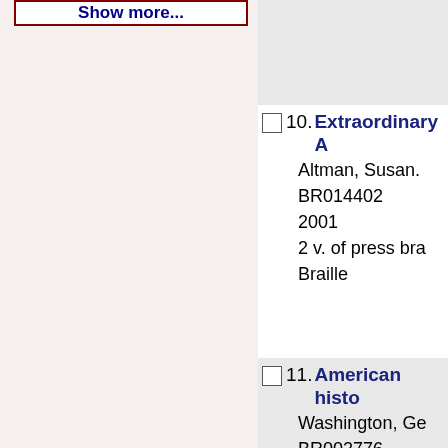Show more...
10. Extraordinary A
Altman, Susan.
BR014402
2001
2 v. of press bra
Braille
11. American histo
Washington, Ge
BR002776
1965
1 v. of braille ; 25
Braille
12. Susan B. Antho women's landm
Sherr, Lynn.
BR010286
1994